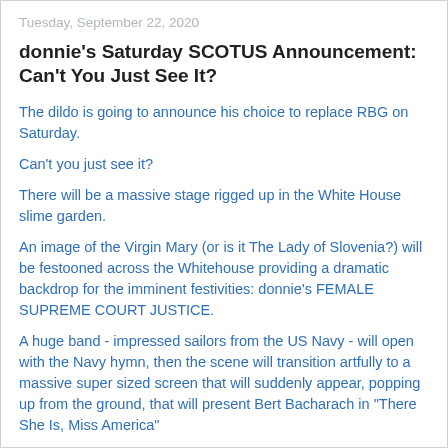Tuesday, September 22, 2020
donnie's Saturday SCOTUS Announcement: Can't You Just See It?
The dildo is going to announce his choice to replace RBG on Saturday.
Can't you just see it?
There will be a massive stage rigged up in the White House slime garden.
An image of the Virgin Mary (or is it The Lady of Slovenia?) will be festooned across the Whitehouse providing a dramatic backdrop for the imminent festivities: donnie's FEMALE SUPREME COURT JUSTICE.
A huge band - impressed sailors from the US Navy - will open with the Navy hymn, then the scene will transition artfully to a massive super sized screen that will suddenly appear, popping up from the ground, that will present Bert Bacharach in "There She Is, Miss America"